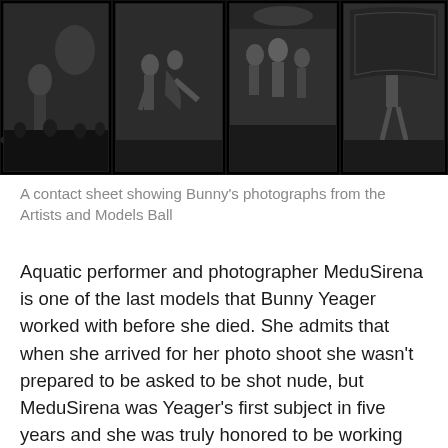[Figure (photo): A black and white contact sheet showing four photographic frames from the Artists and Models Ball, depicting performers on stage]
A contact sheet showing Bunny's photographs from the Artists and Models Ball
Aquatic performer and photographer MeduSirena is one of the last models that Bunny Yeager worked with before she died. She admits that when she arrived for her photo shoot she wasn't prepared to be asked to be shot nude, but MeduSirena was Yeager's first subject in five years and she was truly honored to be working with someone she saw as so great, calling the experience “momentous” and “truly great”. She said she felts “not at all pressured but could see how it could happen,” and goes on to explain that “everyone has their own issues with nudity.” MeduSirena was scheduled to have a beach shoot when Yeager died. She went on to explain that Yeager was so good at using